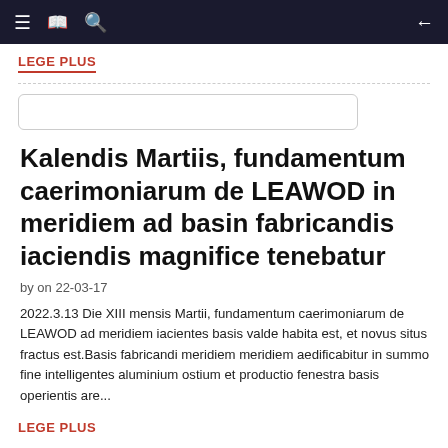≡  📖  🔍  ←
LEGE PLUS
[Figure (other): Search input box, empty, with rounded border]
Kalendis Martiis, fundamentum caerimoniarum de LEAWOD in meridiem ad basin fabricandis iaciendis magnifice tenebatur
by on 22-03-17
2022.3.13 Die XIII mensis Martii, fundamentum caerimoniarum de LEAWOD ad meridiem iacientes basis valde habita est, et novus situs fractus est.Basis fabricandi meridiem meridiem aedificabitur in summo fine intelligentes aluminium ostium et productio fenestra basis operientis are...
LEGE PLUS